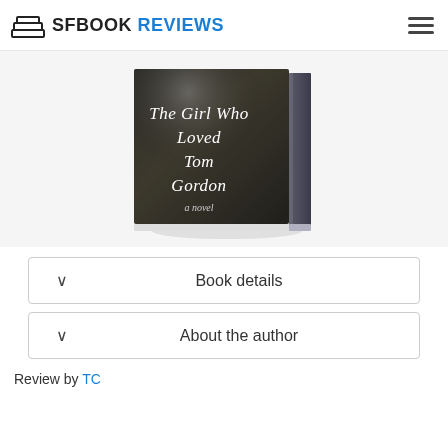SFBOOK REVIEWS
[Figure (photo): Book cover of 'The Girl Who Loved Tom Gordon - a novel' shown as a 3D hardcover book with dark atmospheric background]
Book details
About the author
Review by TC